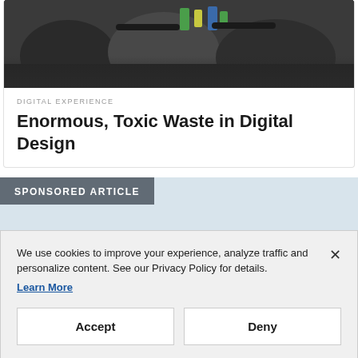[Figure (photo): Photo of gym equipment / vehicle interior with dark background]
DIGITAL EXPERIENCE
Enormous, Toxic Waste in Digital Design
[Figure (photo): Sponsored article photo showing a drone delivering pizza boxes, with 'SPONSORED ARTICLE' banner overlay]
We use cookies to improve your experience, analyze traffic and personalize content. See our Privacy Policy for details.
Learn More
Accept
Deny